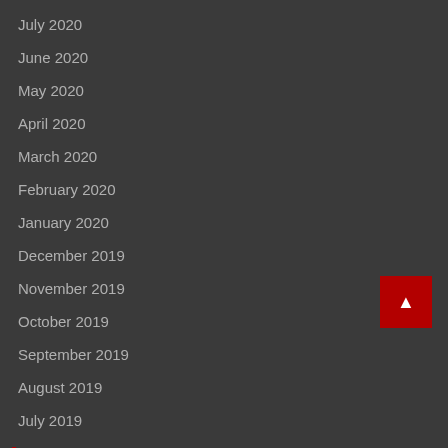July 2020
June 2020
May 2020
April 2020
March 2020
February 2020
January 2020
December 2019
November 2019
October 2019
September 2019
August 2019
July 2019
Categories
Advertorial